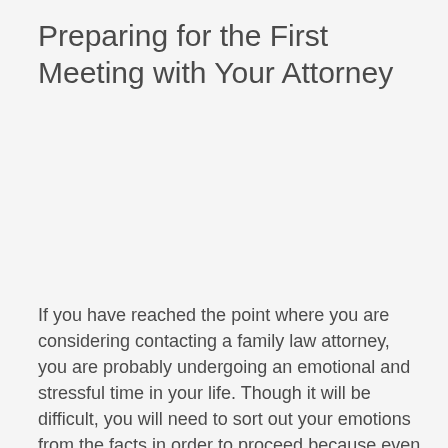Preparing for the First Meeting with Your Attorney
If you have reached the point where you are considering contacting a family law attorney, you are probably undergoing an emotional and stressful time in your life. Though it will be difficult, you will need to sort out your emotions from the facts in order to proceed because even